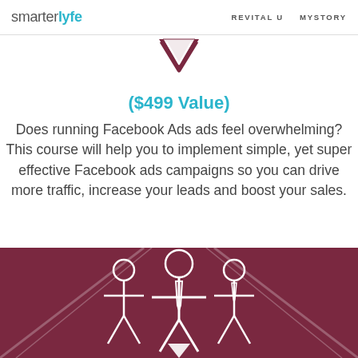smarterlyfe   REVITAL U   MYSTORY
[Figure (illustration): Dark maroon downward-pointing chevron/arrow shape at top center]
($499 Value)
Does running Facebook Ads ads feel overwhelming? This course will help you to implement simple, yet super effective Facebook ads campaigns so you can drive more traffic, increase your leads and boost your sales.
[Figure (illustration): Dark maroon banner with three white outline figures of people standing on a road shape, center figure has a tie and downward arrow, flanked by two smaller figures]